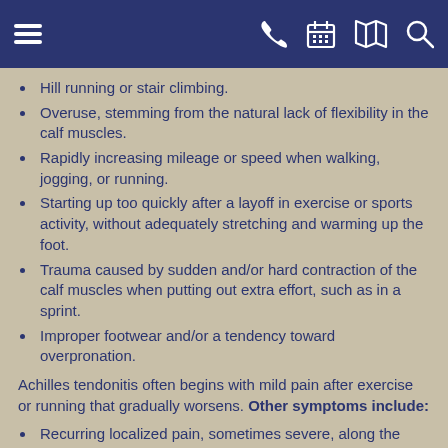Navigation header with menu, phone, calendar, map, and search icons
Hill running or stair climbing.
Overuse, stemming from the natural lack of flexibility in the calf muscles.
Rapidly increasing mileage or speed when walking, jogging, or running.
Starting up too quickly after a layoff in exercise or sports activity, without adequately stretching and warming up the foot.
Trauma caused by sudden and/or hard contraction of the calf muscles when putting out extra effort, such as in a sprint.
Improper footwear and/or a tendency toward overpronation.
Achilles tendonitis often begins with mild pain after exercise or running that gradually worsens. Other symptoms include:
Recurring localized pain, sometimes severe, along the tendon during or a few hours after running.
Morning tenderness about an inch and a half above the point where the Achilles tendon is attached to the heel bone.
Sluggishness in your leg.